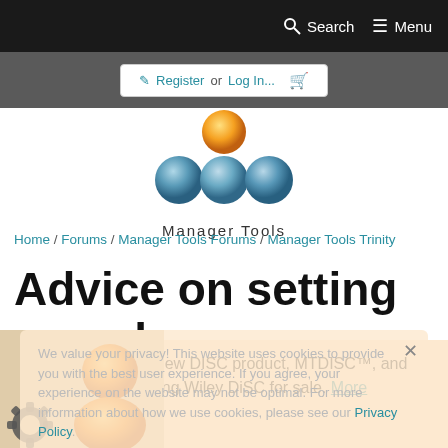Search  Menu
Register or Log In...  [cart icon]
[Figure (logo): Manager Tools logo: one orange ball on top, three blue balls below, text 'Manager Tools' underneath]
Home / Forums / Manager Tools Forums / Manager Tools Trinity
Advice on setting a goal
We've developed a new DISC product, MTDISC™, and are no longer providing Wiley DiSC for sale. More information.
We value your privacy! This website uses cookies to provide you with the best user experience. If you agree, your experience on the website may not be optimal. For more information about how we use cookies, please see our Privacy Policy.
Got it!
[Figure (illustration): User avatar/profile image with orange person icon and gear/settings icon in lower left corner]